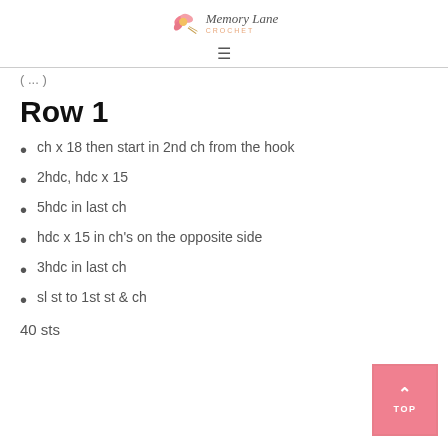Memory Lane Crochet
(…)
Row 1
ch x 18 then start in 2nd ch from the hook
2hdc, hdc x 15
5hdc in last ch
hdc x 15 in ch's on the opposite side
3hdc in last ch
sl st to 1st st & ch
40 sts